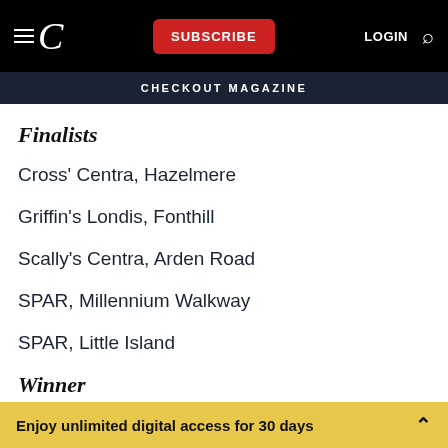C | SUBSCRIBE | LOGIN | Search
CHECKOUT MAGAZINE
Finalists
Cross' Centra, Hazelmere
Griffin's Londis, Fonthill
Scally's Centra, Arden Road
SPAR, Millennium Walkway
SPAR, Little Island
Winner
Enjoy unlimited digital access for 30 days